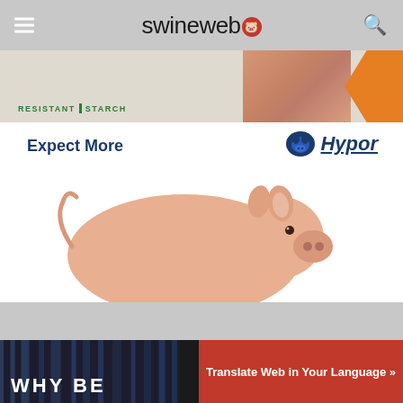swineweb
[Figure (photo): Partial advertisement banner showing resistant starch text, meat product image, and orange chevron]
[Figure (illustration): Hypor advertisement: 'Expect More' text with Hypor logo, pink pig illustration, 'Hypor Libra* paired with...' text]
[Figure (photo): Bottom partial banner showing 'WHY BE' text in dark striped background]
Translate Web in Your Language »